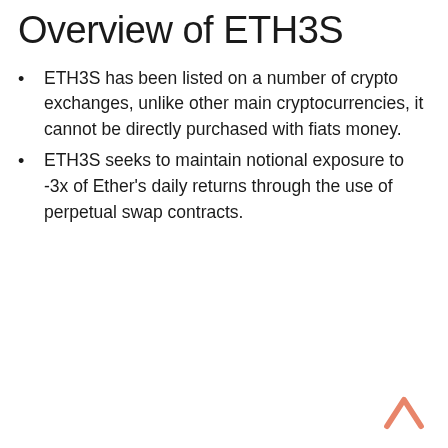Overview of ETH3S
ETH3S has been listed on a number of crypto exchanges, unlike other main cryptocurrencies, it cannot be directly purchased with fiats money.
ETH3S seeks to maintain notional exposure to -3x of Ether's daily returns through the use of perpetual swap contracts.